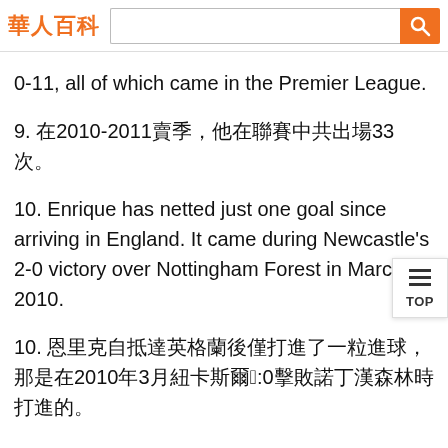華人百科
0-11, all of which came in the Premier League.
9. 在2010-2011賽季，他在聯賽中共出場33次。
10. Enrique has netted just one goal since arriving in England. It came during Newcastle's 2-0 victory over Nottingham Forest in March 2010.
10. 恩里克自抵達英格蘭後僅打進了一粒進球，那是在2010年3月紐卡斯爾以2:0擊敗諾丁漢森林時打進的。